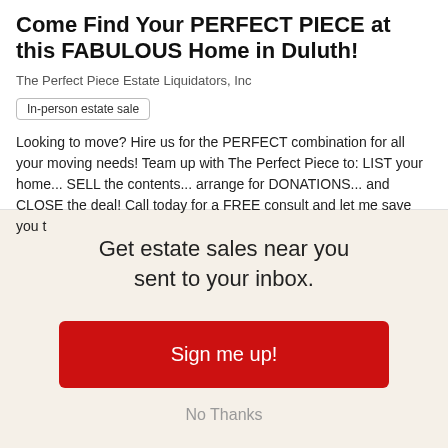Come Find Your PERFECT PIECE at this FABULOUS Home in Duluth!
The Perfect Piece Estate Liquidators, Inc
In-person estate sale
Looking to move? Hire us for the PERFECT combination for all your moving needs! Team up with The Perfect Piece to: LIST your home... SELL the contents... arrange for DONATIONS... and CLOSE the deal! Call today for a FREE consult and let me save you t
Get estate sales near you sent to your inbox.
Sign me up!
No Thanks